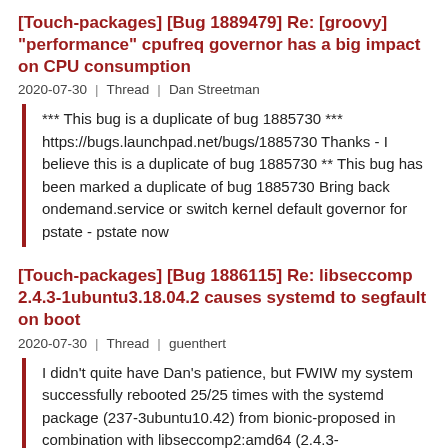[Touch-packages] [Bug 1889479] Re: [groovy] "performance" cpufreq governor has a big impact on CPU consumption
2020-07-30 | Thread | Dan Streetman
*** This bug is a duplicate of bug 1885730 *** https://bugs.launchpad.net/bugs/1885730 Thanks - I believe this is a duplicate of bug 1885730 ** This bug has been marked a duplicate of bug 1885730 Bring back ondemand.service or switch kernel default governor for pstate - pstate now
[Touch-packages] [Bug 1886115] Re: libseccomp 2.4.3-1ubuntu3.18.04.2 causes systemd to segfault on boot
2020-07-30 | Thread | guenthert
I didn't quite have Dan's patience, but FWIW my system successfully rebooted 25/25 times with the systemd package (237-3ubuntu10.42) from bionic-proposed in combination with libseccomp2:amd64 (2.4.3-1ubuntu3.18.04.3) installed and syscall filtering enabled in
[Touch-packages] [Bug 1889217] Re: Make digital